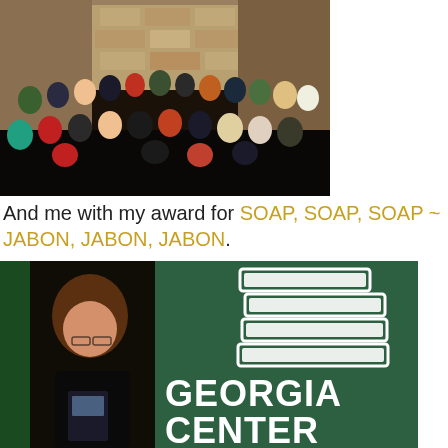[Figure (photo): Group photo of approximately 30 people posed together indoors, in front of a stone wall backdrop with curtains]
And me with my award for SOAP, SOAP, SOAP ~ JABON, JABON, JABON.
[Figure (photo): Woman holding an award standing in front of a green Georgia Center banner with stacked books logo]